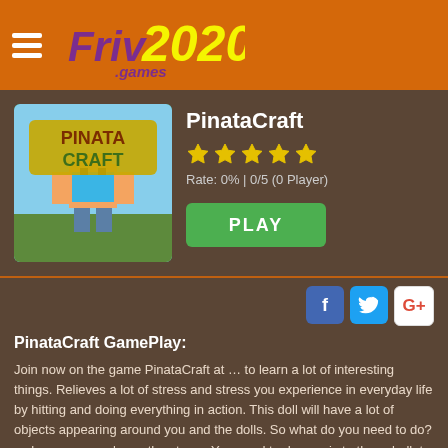Friv2020.games
[Figure (screenshot): PinataCraft game thumbnail showing Minecraft-style character with yellow PINATA CRAFT logo]
PinataCraft
Rate: 0% | 0/5 (0 Player)
PLAY
PinataCraft GamePlay:
Join now on the game PinataCraft at … to learn a lot of interesting things. Relieves a lot of stress and stress you experience in everyday life by hitting and doing everything in action. This doll will have a lot of objects appearing around you and the dolls. So what do you need to do? as long as you release the stress. You need to do now is to throw bullets onto the image of the robot. Then when you finish and destroy them, a rain of money will fall.
Interesting, right? Whether you can welcome rain of money or not is up to your skill. But the game is not too difficult. Mainly for relaxation because these